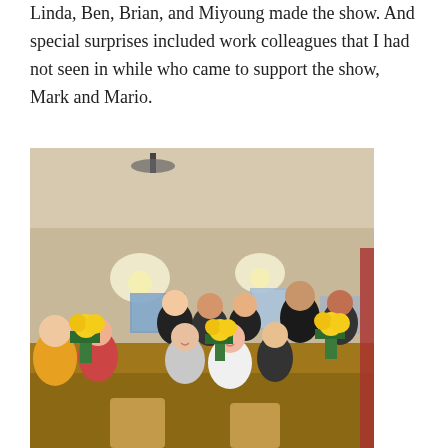Linda, Ben, Brian, and Miyoung made the show. And special surprises included work colleagues that I had not seen in while who came to support the show, Mark and Mario.
[Figure (photo): Group photo of approximately 10 people seated and standing around a wooden table with yellow flower arrangements (sunflowers/chrysanthemums in green leaf vases). The room has wall sconces, artwork on the walls, and a ceiling fan. People are smiling at the camera.]